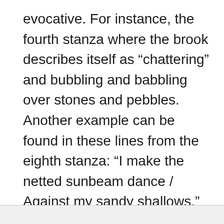evocative. For instance, the fourth stanza where the brook describes itself as “chattering” and bubbling and babbling over stones and pebbles. Another example can be found in these lines from the eighth stanza: “I make the netted sunbeam dance / Against my sandy shallows.”